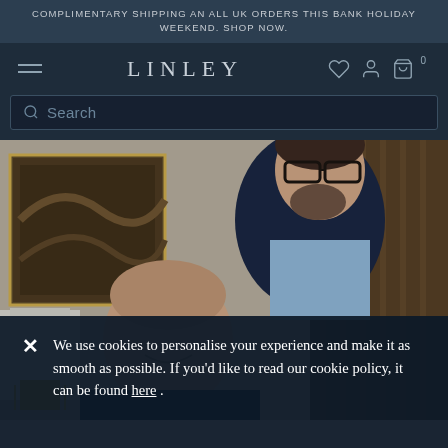COMPLIMENTARY SHIPPING AN ALL UK ORDERS THIS BANK HOLIDAY WEEKEND. SHOP NOW.
LINLEY
Search
[Figure (photo): Two men in a luxury interior setting. The man on the right stands wearing glasses and a dark navy blazer over a light blue patterned shirt. The man on the left (partially visible, bald) is in front. Background shows a painting on the wall, a white lamp, and wooden panelling/staircase.]
We use cookies to personalise your experience and make it as smooth as possible. If you'd like to read our cookie policy, it can be found here .